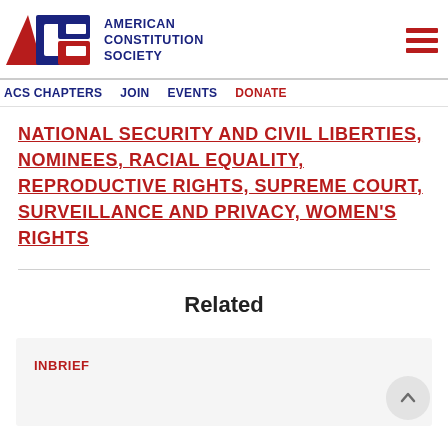[Figure (logo): American Constitution Society logo with ACS letters in red and blue and organization name]
ACS CHAPTERS  JOIN  EVENTS  DONATE
NATIONAL SECURITY AND CIVIL LIBERTIES, NOMINEES, RACIAL EQUALITY, REPRODUCTIVE RIGHTS, SUPREME COURT, SURVEILLANCE AND PRIVACY, WOMEN'S RIGHTS
Related
INBRIEF